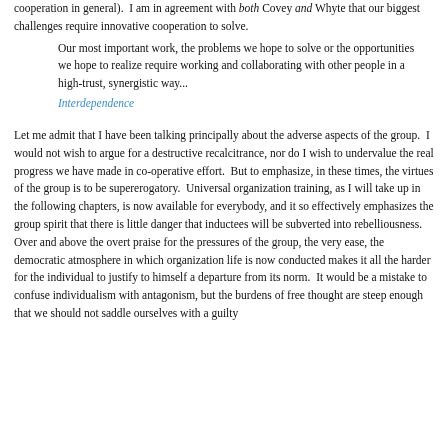cooperation in general).  I am in agreement with both Covey and Whyte that our biggest challenges require innovative cooperation to solve.
Our most important work, the problems we hope to solve or the opportunities we hope to realize require working and collaborating with other people in a high-trust, synergistic way...
Interdependence
Let me admit that I have been talking principally about the adverse aspects of the group.  I would not wish to argue for a destructive recalcitrance, nor do I wish to undervalue the real progress we have made in co-operative effort.  But to emphasize, in these times, the virtues of the group is to be supererogatory.  Universal organization training, as I will take up in the following chapters, is now available for everybody, and it so effectively emphasizes the group spirit that there is little danger that inductees will be subverted into rebelliousness.
Over and above the overt praise for the pressures of the group, the very ease, the democratic atmosphere in which organization life is now conducted makes it all the harder for the individual to justify to himself a departure from its norm.  It would be a mistake to confuse individualism with antagonism, but the burdens of free thought are steep enough that we should not saddle ourselves with a guilty